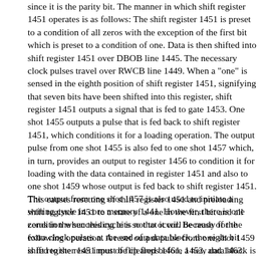since it is the parity bit. The manner in which shift register 1451 operates is as follows: The shift register 1451 is preset to a condition of all zeros with the exception of the first bit which is preset to a condition of one. Data is then shifted into shift register 1451 over DBOB line 1445. The necessary clock pulses travel over RWCB line 1449. When a "one" is sensed in the eighth position of shift register 1451, signifying that seven bits have been shifted into this register, shift register 1451 outputs a signal that is fed to gate 1453. One shot 1455 outputs a pulse that is fed back to shift register 1451, which conditions it for a loading operation. The output pulse from one shot 1455 is also fed to one shot 1457 which, in turn, provides an output to register 1456 to condition it for loading with the data contained in register 1451 and also to one shot 1459 whose output is fed back to shift register 1451. This causes resetting of shift register 1451 and preloading shift register 1451 to a state of a one in the first bit and all zeros in the succeeding bits so that it will be ready for the following operation. A reset output pulse from one shot 1459 is fed to the reset input of flip flops 1461, 1452, and 1463.
The output from one shot 1457 is also used to initiate a writing cycle in core memory 1441. However, there is one condition when this cycle is not to occur. Because of the extra clock pulses at the end of a data block, the eight bit shift register 1451 must be cleared before a new data block is